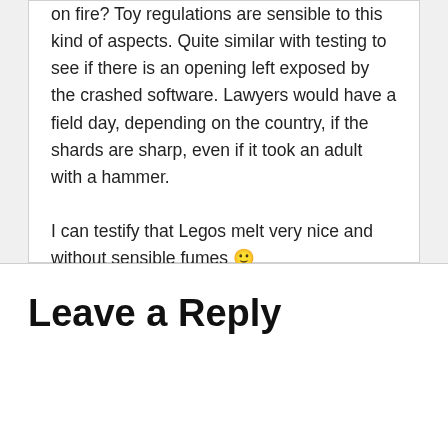on fire? Toy regulations are sensible to this kind of aspects. Quite similar with testing to see if there is an opening left exposed by the crashed software. Lawyers would have a field day, depending on the country, if the shards are sharp, even if it took an adult with a hammer.

I can testify that Legos melt very nice and without sensible fumes 🙂
Reply
Leave a Reply